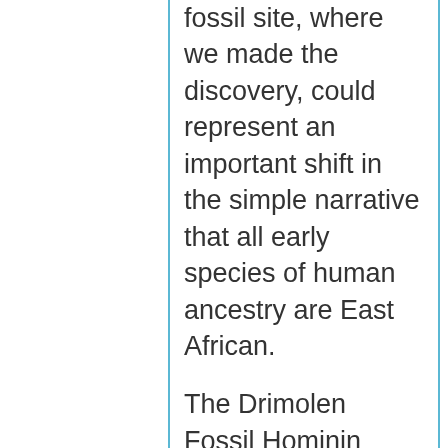fossil site, where we made the discovery, could represent an important shift in the simple narrative that all early species of human ancestry are East African.
The Drimolen Fossil Hominin